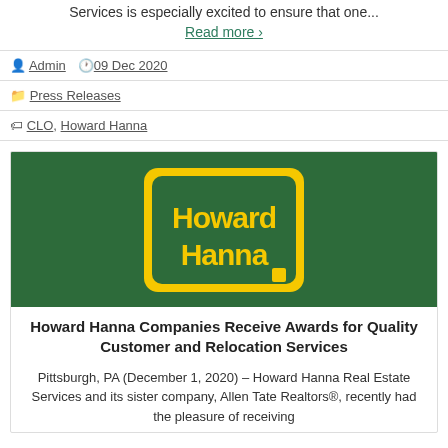Services is especially excited to ensure that one...
Read more ›
Admin  09 Dec 2020
Press Releases
CLO, Howard Hanna
[Figure (logo): Howard Hanna logo on green background with yellow sign shape]
Howard Hanna Companies Receive Awards for Quality Customer and Relocation Services
Pittsburgh, PA (December 1, 2020) – Howard Hanna Real Estate Services and its sister company, Allen Tate Realtors®, recently had the pleasure of receiving